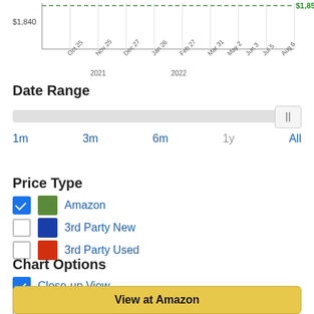[Figure (line-chart): Partial view of a line chart showing Amazon price history from Oct 25 2021 to Aug 6 2022, with a dashed green horizontal line at $1,854.97 and y-axis showing $1,840. X-axis labels: Oct 25, Nov 25, Dec 27, Jan 26, Feb 27, Mar 31, May 2, Jun 3, Jul 5, Aug 6. Year labels: 2021, 2022.]
Date Range
1m  3m  6m  1y  All
Price Type
Amazon
3rd Party New
3rd Party Used
Chart Options
Close-up View
Remove Extreme Values
View at Amazon